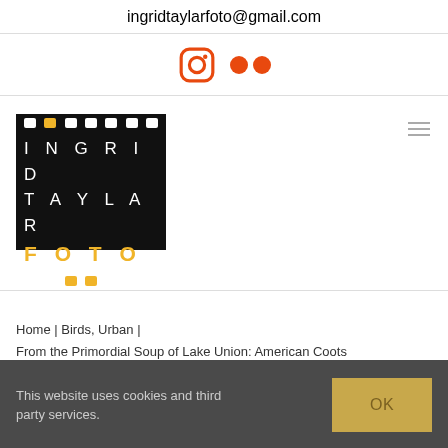ingridtaylarfoto@gmail.com
[Figure (logo): Instagram icon (orange outline camera) and Flickr icon (two orange circles) — social media links]
[Figure (logo): Ingrid Taylar Foto logo: film strip with white text INGRID TAYLAR and yellow text FOTO on black background]
Home | Birds, Urban |
From the Primordial Soup of Lake Union: American Coots
This website uses cookies and third party services.